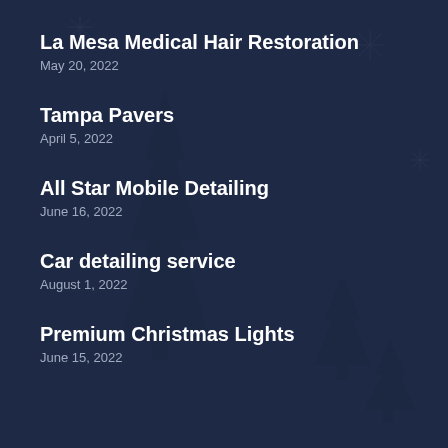[Figure (illustration): Dark navy blue background with faint snowflake and pine tree silhouettes in a darker shade of navy, creating a subtle winter/Christmas themed texture]
La Mesa Medical Hair Restoration
May 20, 2022
Tampa Pavers
April 5, 2022
All Star Mobile Detailing
June 16, 2022
Car detailing service
August 1, 2022
Premium Christmas Lights
June 15, 2022